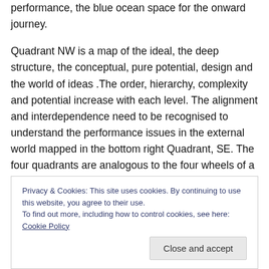performance, the blue ocean space for the onward journey.

Quadrant NW is a map of the ideal, the deep structure, the conceptual, pure potential, design and the world of ideas .The order, hierarchy, complexity and potential increase with each level. The alignment and interdependence need to be recognised to understand the performance issues in the external world mapped in the bottom right Quadrant, SE. The four quadrants are analogous to the four wheels of a car, a learning engine, which continues to improve its past performance as it
Privacy & Cookies: This site uses cookies. By continuing to use this website, you agree to their use.
To find out more, including how to control cookies, see here: Cookie Policy